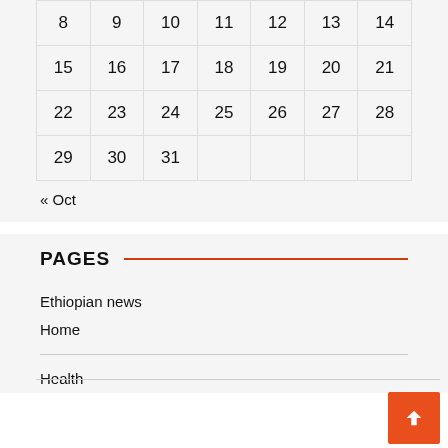| 8 | 9 | 10 | 11 | 12 | 13 | 14 |
| 15 | 16 | 17 | 18 | 19 | 20 | 21 |
| 22 | 23 | 24 | 25 | 26 | 27 | 28 |
| 29 | 30 | 31 |  |  |  |  |
« Oct
PAGES
Ethiopian news
Home
Health